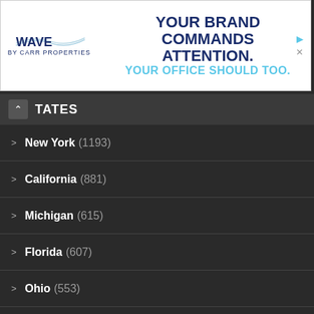[Figure (illustration): Wave by Carr Properties advertisement banner. Logo on left with 'WAVE BY CARR PROPERTIES' text. Tagline reads 'YOUR BRAND COMMANDS ATTENTION. YOUR OFFICE SHOULD TOO.']
STATES
New York (1193)
California (881)
Michigan (615)
Florida (607)
Ohio (553)
Massachusetts (537)
Texas (519)
Illinois (499)
New Jersey (469)
Connecticut (469)